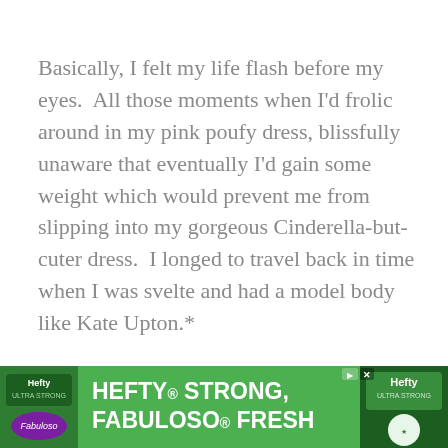Basically, I felt my life flash before my eyes.  All those moments when I'd frolic around in my pink poufy dress, blissfully unaware that eventually I'd gain some weight which would prevent me from slipping into my gorgeous Cinderella-but-cuter dress.  I longed to travel back in time when I was svelte and had a model body like Kate Upton.*
*Okay, this never happened and I have never had a body like Kate Upton.  I have, however, had many dreams in which I LOO... ...y i...
[Figure (infographic): Advertisement banner for Hefty and Fabuloso products. Green background with Hefty logo on left, bold white text 'HEFTY STRONG, FABULOSO FRESH' in center, Hefty product image on right. Fabuloso logo bottom left. Close and ad-choice icons top right.]